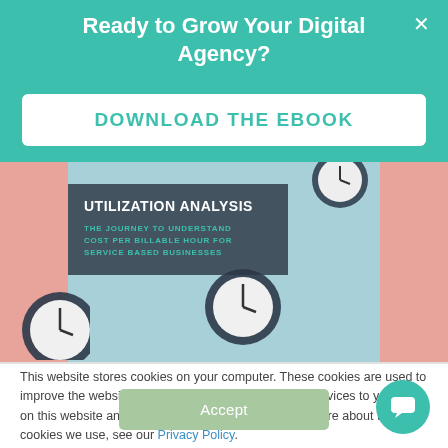Ready to Grow Your Digital Agency?
DOWNLOAD THE EBOOK
[Figure (photo): Book cover for 'Utilization Analysis: The Journey to Understand Cost Per Billable Hour for Service Based Businesses' shown with alarm clocks on a teal/blue background with pink side panels]
This website stores cookies on your computer. These cookies are used to improve the website and provide more personalized services to you, both on this website and through other media. To find out more about the cookies we use, see our Privacy Policy.
Accept